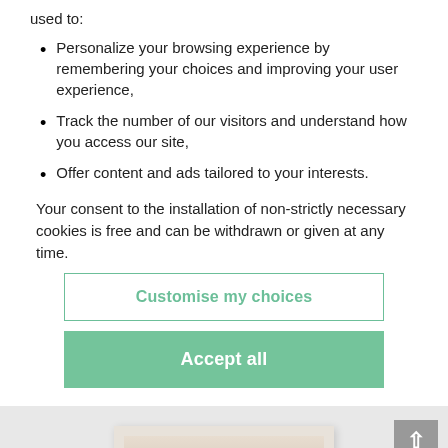used to:
Personalize your browsing experience by remembering your choices and improving your user experience,
Track the number of our visitors and understand how you access our site,
Offer content and ads tailored to your interests.
Your consent to the installation of non-strictly necessary cookies is free and can be withdrawn or given at any time.
Customise my choices
Accept all
[Figure (photo): Bottom portion of page showing a light grey background with a framed painting/artwork visible, depicting what appears to be a cityscape or architectural scene. A scroll-to-top button is visible in the upper right.]